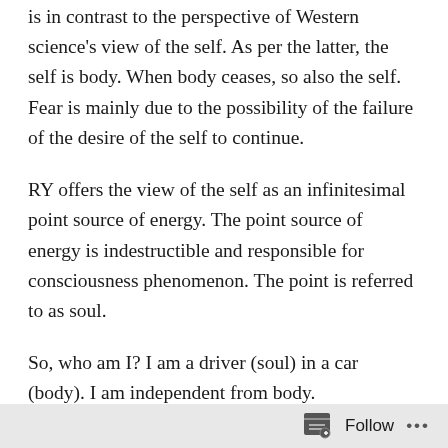is in contrast to the perspective of Western science's view of the self. As per the latter, the self is body. When body ceases, so also the self. Fear is mainly due to the possibility of the failure of the desire of the self to continue.
RY offers the view of the self as an infinitesimal point source of energy. The point source of energy is indestructible and responsible for consciousness phenomenon. The point is referred to as soul.
So, who am I? I am a driver (soul) in a car (body). I am independent from body.
The independent qualities of a soul are peace, love, and bliss. But I forget to experience these qualities, when I
Follow ···